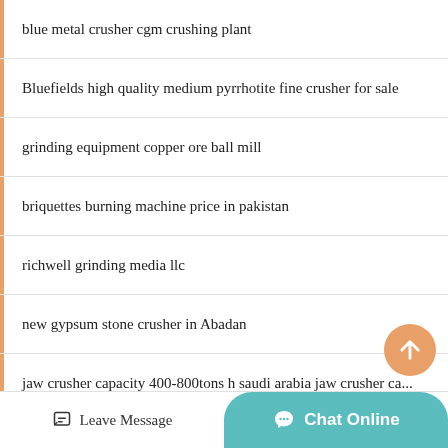blue metal crusher cgm crushing plant
Bluefields high quality medium pyrrhotite fine crusher for sale
grinding equipment copper ore ball mill
briquettes burning machine price in pakistan
richwell grinding media llc
new gypsum stone crusher in Abadan
jaw crusher capacity 400-800tons h saudi arabia jaw crusher ca...
minining equipment distributors profile